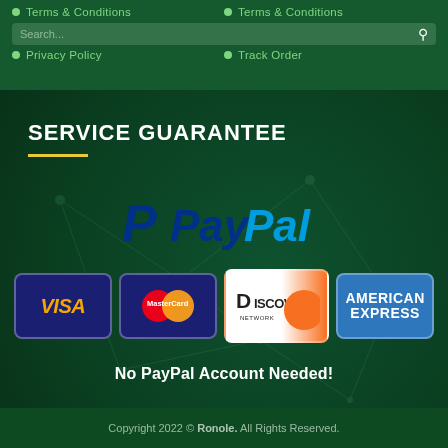Terms & Conditions
Terms & Conditions
Privacy Policy
Track Order
SERVICE GUARANTEE
[Figure (logo): PayPal logo with blue P icon and PayPal wordmark in blue and cyan]
[Figure (logo): Payment method logos: VISA, MasterCard, Discover Network, American Express]
No PayPal Account Needed!
Copyright 2022 © Ronole. All Rights Reserved.